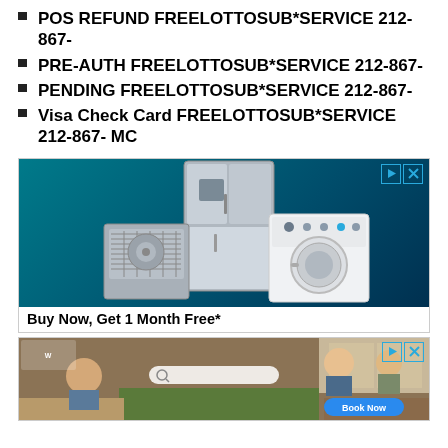POS REFUND FREELOTTOSUB*SERVICE 212-867-
PRE-AUTH FREELOTTOSUB*SERVICE 212-867-
PENDING FREELOTTOSUB*SERVICE 212-867-
Visa Check Card FREELOTTOSUB*SERVICE 212-867- MC
[Figure (photo): Advertisement showing home appliances (refrigerator, washing machine, air conditioning unit) on a dark teal background with ad control icons (play and close) in top right corner.]
Buy Now, Get 1 Month Free*
[Figure (photo): Advertisement showing a kitchen scene with people cooking, a search bar overlay, and a 'Book Now' button in bottom right corner, with ad control icons in top right.]